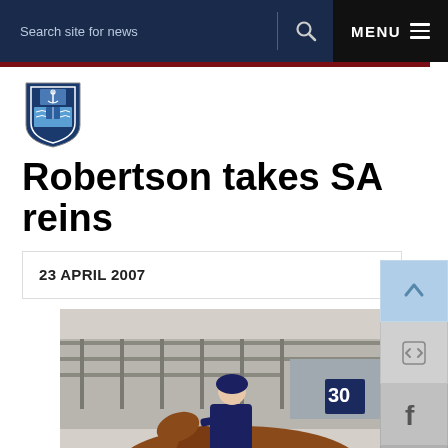Search site for news   Q   MENU
[Figure (logo): University shield/crest logo in blue and white]
Robertson takes SA reins
23 APRIL 2007
[Figure (photo): A person in formal equestrian attire (dark blue jacket and helmet) riding a chestnut horse at a show or competition. Number 30 visible on a competitor in the background. Metal fencing and spectators visible.]